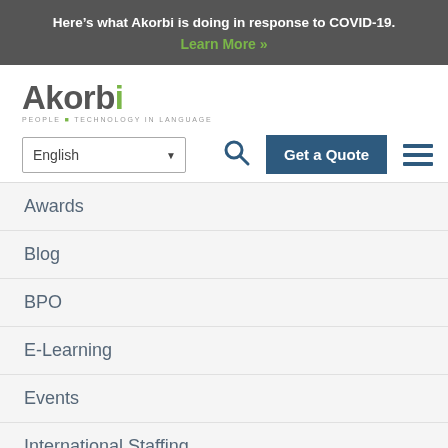Here’s what Akorbi is doing in response to COVID-19. Learn More »
[Figure (logo): Akorbi logo with tagline PEOPLE TECHNOLOGY IN LANGUAGE]
English (language selector dropdown)
Search icon, Get a Quote button, hamburger menu
Awards
Blog
BPO
E-Learning
Events
International Staffing
Interpretation Services